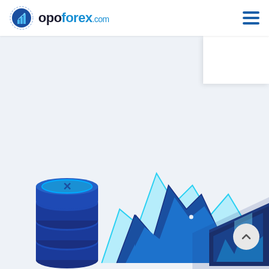opoforex.com
[Figure (illustration): Isometric illustration of a forex trading platform featuring a stacked database/server cylinder with an X symbol on top in dark blue and cyan, a 3D area/line chart with blue mountain-shaped peaks and a light cyan overlay line, and a dark blue tablet/phone device in the lower right. The overall color palette is dark navy, medium blue, and light cyan on a light gray-blue background.]